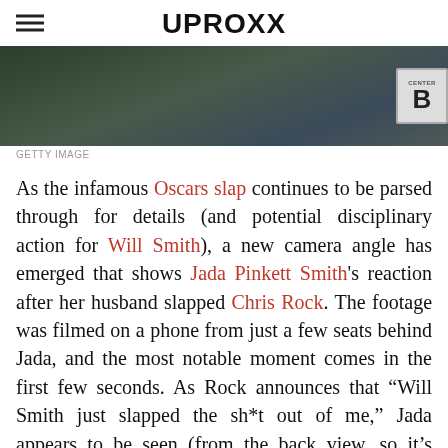UPROXX
[Figure (photo): Photo showing people at an event, with a sign visible in the background showing the letter B and text CENTER]
GETTY IMAGE
As the infamous Oscars slap continues to be parsed through for details (and potential disciplinary action for Will Smith), a new camera angle has emerged that shows Jada Pinkett Smith's reaction after her husband slapped Chris Rock. The footage was filmed on a phone from just a few seats behind Jada, and the most notable moment comes in the first few seconds. As Rock announces that “Will Smith just slapped the sh*t out of me,” Jada appears to be seen (from the back view, so it’s tough to tell) laughing, just like most of the audience does before it became clear that the incident was not a scripted bit. When Will